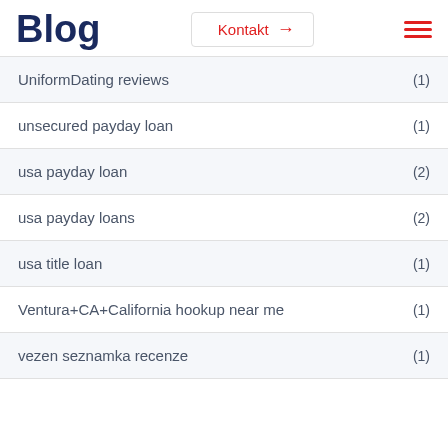Blog | Kontakt | menu
UniformDating reviews (1)
unsecured payday loan (1)
usa payday loan (2)
usa payday loans (2)
usa title loan (1)
Ventura+CA+California hookup near me (1)
vezen seznamka recenze (1)